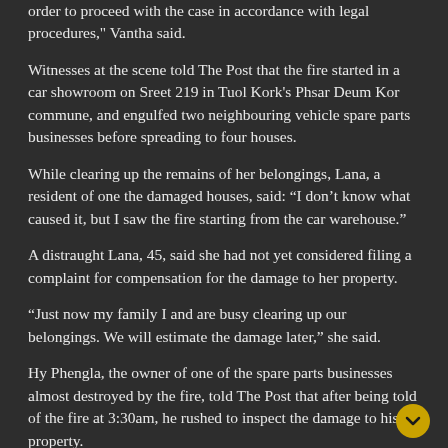order to proceed with the case in accordance with legal procedures," Vantha said.
Witnesses at the scene told The Post that the fire started in a car showroom on Sreet 219 in Tuol Kork's Phsar Deum Kor commune, and engulfed two neighbouring vehicle spare parts businesses before spreading to four houses.
While clearing up the remains of her belongings, Lana, a resident of one the damaged houses, said: “I don’t know what caused it, but I saw the fire starting from the car warehouse.”
A distraught Lana, 45, said she had not yet considered filing a complaint for compensation for the damage to her property.
“Just now my family I and are busy clearing up our belongings. We will estimate the damage later,” she said.
Hy Phengla, the owner of one of the spare parts businesses almost destroyed by the fire, told The Post that after being told of the fire at 3:30am, he rushed to inspect the damage to his property.
He said: “I don’t know where the fire started from, but when I arrived at my warehouse, the fire had not yet hit my business. I saw the fire coming from behind another warehouse and the